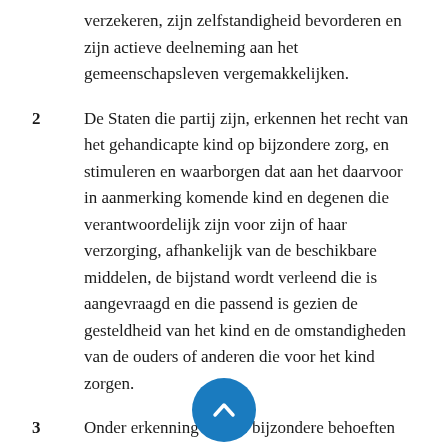verzekeren, zijn zelfstandigheid bevorderen en zijn actieve deelneming aan het gemeenschapsleven vergemakkelijken.
2	De Staten die partij zijn, erkennen het recht van het gehandicapte kind op bijzondere zorg, en stimuleren en waarborgen dat aan het daarvoor in aanmerking komende kind en degenen die verantwoordelijk zijn voor zijn of haar verzorging, afhankelijk van de beschikbare middelen, de bijstand wordt verleend die is aangevraagd en die passend is gezien de gesteldheid van het kind en de omstandigheden van de ouders of anderen die voor het kind zorgen.
3	Onder erkenning van de bijzondere behoeften van het gehandicapte kind, dient de in overeenstemming met het tweede lid geboden bijstand, wanneer mogelijk, gratis te worden verleend, rekening houdend met de financiële